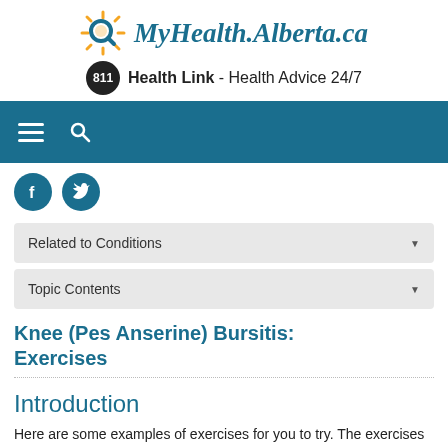MyHealth.Alberta.ca
811 Health Link - Health Advice 24/7
[Figure (logo): MyHealth.Alberta.ca logo with sun/magnifying glass icon and 811 Health Link badge]
Related to Conditions (dropdown)
Topic Contents (dropdown)
Knee (Pes Anserine) Bursitis: Exercises
Introduction
Here are some examples of exercises for you to try. The exercises may be suggested for a